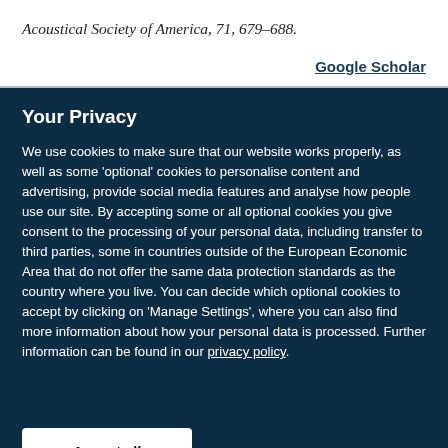Acoustical Society of America, 71, 679–688.
Google Scholar
Your Privacy
We use cookies to make sure that our website works properly, as well as some 'optional' cookies to personalise content and advertising, provide social media features and analyse how people use our site. By accepting some or all optional cookies you give consent to the processing of your personal data, including transfer to third parties, some in countries outside of the European Economic Area that do not offer the same data protection standards as the country where you live. You can decide which optional cookies to accept by clicking on 'Manage Settings', where you can also find more information about how your personal data is processed. Further information can be found in our privacy policy.
Accept all cookies
Manage preferences